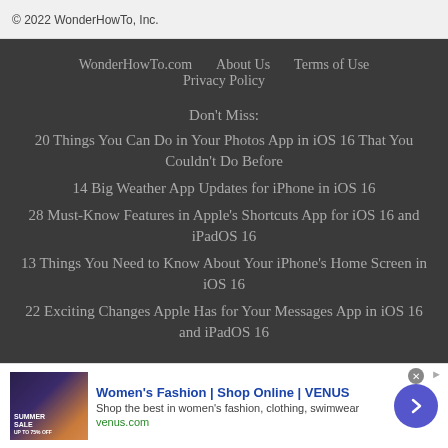© 2022 WonderHowTo, Inc.
WonderHowTo.com   About Us   Terms of Use   Privacy Policy
Don't Miss:
20 Things You Can Do in Your Photos App in iOS 16 That You Couldn't Do Before
14 Big Weather App Updates for iPhone in iOS 16
28 Must-Know Features in Apple's Shortcuts App for iOS 16 and iPadOS 16
13 Things You Need to Know About Your iPhone's Home Screen in iOS 16
22 Exciting Changes Apple Has for Your Messages App in iOS 16 and iPadOS 16
[Figure (other): Advertisement banner for Women's Fashion Shop Online VENUS with sale image and arrow button]